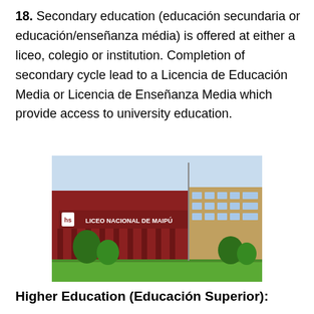18. Secondary education (educación secundaria or educación/enseñanza média) is offered at either a liceo, colegio or institution. Completion of secondary cycle lead to a Licencia de Educación Media or Licencia de Enseñanza Media which provide access to university education.
[Figure (photo): Photograph of Liceo Nacional de Maipú, a red-brick school building with trees and grass in the foreground, with a sign reading 'LICEO NACIONAL DE MAIPÚ' on the facade.]
Higher Education (Educación Superior):